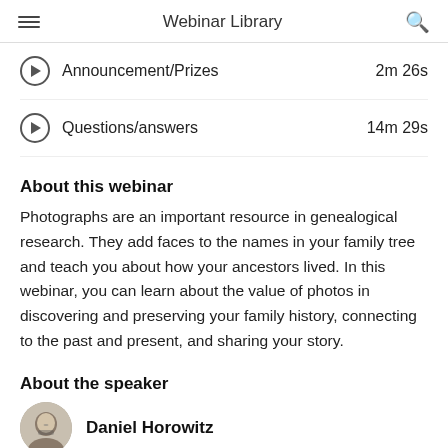Webinar Library
Announcement/Prizes  2m 26s
Questions/answers  14m 29s
About this webinar
Photographs are an important resource in genealogical research. They add faces to the names in your family tree and teach you about how your ancestors lived. In this webinar, you can learn about the value of photos in discovering and preserving your family history, connecting to the past and present, and sharing your story.
About the speaker
Daniel Horowitz